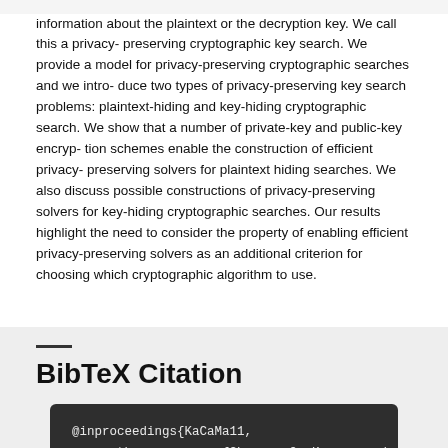information about the plaintext or the decryption key. We call this a privacy- preserving cryptographic key search. We provide a model for privacy-preserving cryptographic searches and we intro- duce two types of privacy-preserving key search problems: plaintext-hiding and key-hiding cryptographic search. We show that a number of private-key and public-key encryp- tion schemes enable the construction of efficient privacy- preserving solvers for plaintext hiding searches. We also discuss possible constructions of privacy-preserving solvers for key-hiding cryptographic searches. Our results highlight the need to consider the property of enabling efficient privacy-preserving solvers as an additional criterion for choosing which cryptographic algorithm to use.
BibTeX Citation
@inproceedings{KaCaMa11,
    author        = {Ghassan O. Karame and
    title         = {Privacy-Preserving Ou